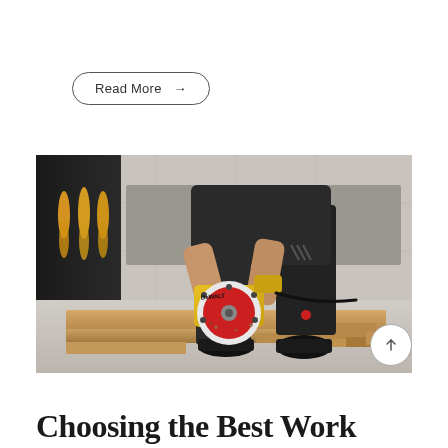Read More →
[Figure (photo): A worker in black clothing bending over to operate a DEWALT circular saw on wooden planks on a workshop floor. Yellow extension cords hang on a dark panel in the background.]
Choosing the Best Work